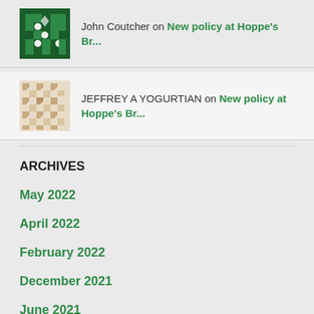John Coutcher on New policy at Hoppe's Br...
JEFFREY A YOGURTIAN on New policy at Hoppe's Br...
ARCHIVES
May 2022
April 2022
February 2022
December 2021
June 2021